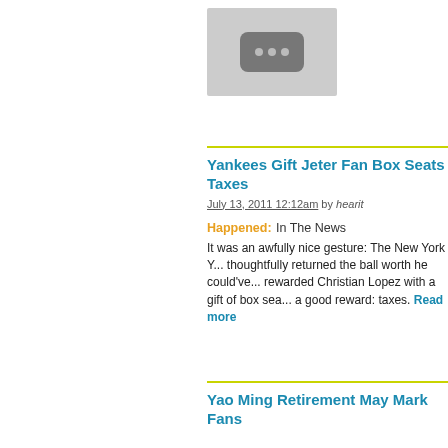[Figure (other): Video thumbnail placeholder with a dark rounded rectangle icon containing three dots on a light gray background]
Yankees Gift Jeter Fan Box Seats Taxes
July 13, 2011 12:12am by hearit
Happened: In The News
It was an awfully nice gesture: The New York Y... thoughtfully returned the ball worth he could've... rewarded Christian Lopez with a gift of box sea... a good reward: taxes. Read more
Yao Ming Retirement May Mark Fans